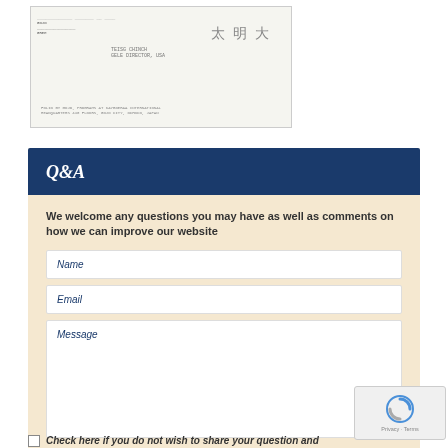[Figure (photo): Scanned image of an old check or document with handwritten text, Japanese kanji characters, and printed text including TEISG CHINCH, GELE DIRECTOR, USA and address information]
Q&A
We welcome any questions you may have as well as comments on how we can improve our website
Name
Email
Message
Check here if you do not wish to share your question and